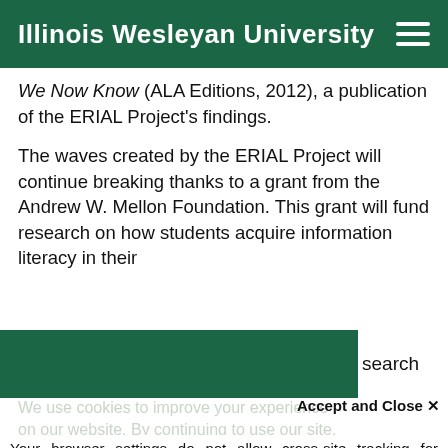Illinois Wesleyan University
We Now Know (ALA Editions, 2012), a publication of the ERIAL Project's findings.
The waves created by the ERIAL Project will continue breaking thanks to a grant from the Andrew W. Mellon Foundation. This grant will fund research on how students acquire information literacy in their
search
We use cookies to improve your experience on our website. By continuing to use our site,
Accept and Close ✕
Your browser settings do not allow cross-site tracking for advertising. Click on this page to allow AdRoll to use cross-site tracking to tailor ads to you. Learn more or opt out of this AdRoll tracking by clicking here. This message only appears once.